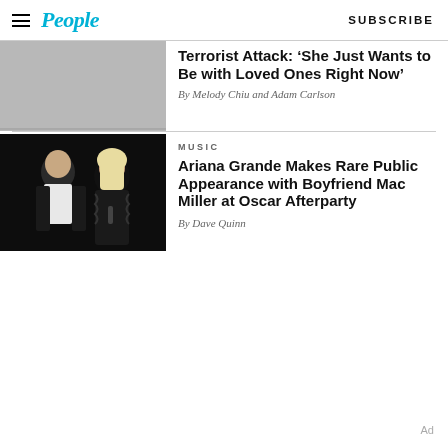People | SUBSCRIBE
[Figure (photo): Partially visible article image at top, cropped]
Terrorist Attack: ‘She Just Wants to Be with Loved Ones Right Now’
By Melody Chiu and Adam Carlson
[Figure (photo): Photo of Mac Miller and Ariana Grande at an Oscar afterparty, dark background]
MUSIC
Ariana Grande Makes Rare Public Appearance with Boyfriend Mac Miller at Oscar Afterparty
By Dave Quinn
Ad